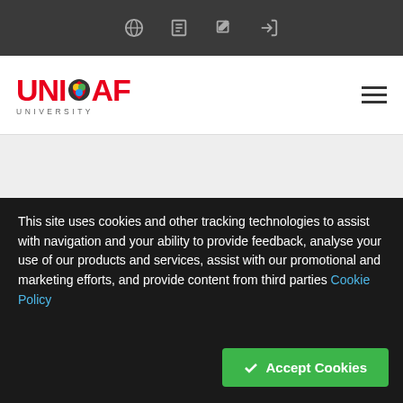Top navigation bar with icons: globe, document, edit, sign-in
[Figure (logo): UNICAF University logo — red bold text with globe icon]
Welcome to the Unicaf University (ZM) Student Panel
You are not logged in.
Follow Us
Important Links
About Us
Programmes
This site uses cookies and other tracking technologies to assist with navigation and your ability to provide feedback, analyse your use of our products and services, assist with our promotional and marketing efforts, and provide content from third parties Cookie Policy